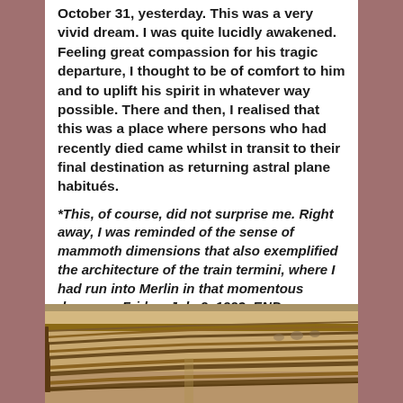October 31, yesterday. This was a very vivid dream. I was quite lucidly awakened. Feeling great compassion for his tragic departure, I thought to be of comfort to him and to uplift his spirit in whatever way possible. There and then, I realised that this was a place where persons who had recently died came whilst in transit to their final destination as returning astral plane habitués.
*This, of course, did not surprise me. Right away, I was reminded of the sense of mammoth dimensions that also exemplified the architecture of the train termini, where I had run into Merlin in that momentous dream on Friday, July 9, 1993. END.
[Figure (photo): Interior photograph of a church or auditorium showing rows of curved wooden pews/seating in warm brown tones, viewed from the side at an angle.]